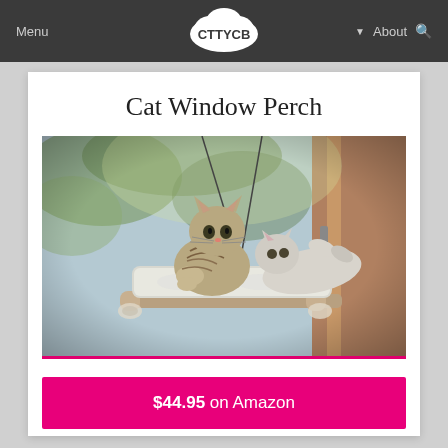Menu | CTTYCB | About
Cat Window Perch
[Figure (photo): Two cats lounging on a cushioned window perch attached to a glass window with suction cups. The cats appear relaxed; one tabby cat is facing the camera and another lighter cat is lying on its back. Natural outdoor scenery is visible through the window.]
$44.95 on Amazon